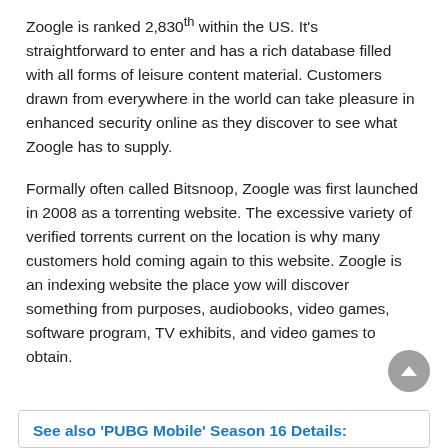Zoogle is ranked 2,830th within the US. It's straightforward to enter and has a rich database filled with all forms of leisure content material. Customers drawn from everywhere in the world can take pleasure in enhanced security online as they discover to see what Zoogle has to supply.
Formally often called Bitsnoop, Zoogle was first launched in 2008 as a torrenting website. The excessive variety of verified torrents current on the location is why many customers hold coming again to this website. Zoogle is an indexing website the place yow will discover something from purposes, audiobooks, video games, software program, TV exhibits, and video games to obtain.
See also  'PUBG Mobile' Season 16 Details: